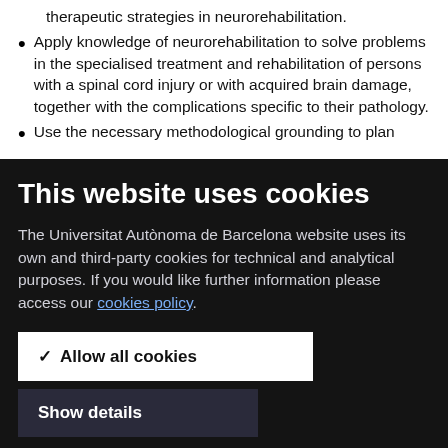therapeutic strategies in neurorehabilitation.
Apply knowledge of neurorehabilitation to solve problems in the specialised treatment and rehabilitation of persons with a spinal cord injury or with acquired brain damage, together with the complications specific to their pathology.
Use the necessary methodological grounding to plan
This website uses cookies
The Universitat Autònoma de Barcelona website uses its own and third-party cookies for technical and analytical purposes. If you would like further information please access our cookies policy.
✓ Allow all cookies
Show details